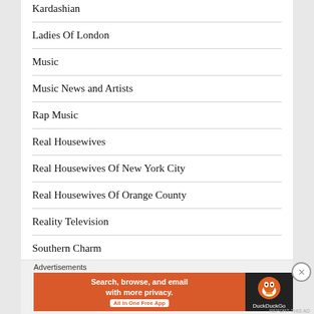Kardashian
Ladies Of London
Music
Music News and Artists
Rap Music
Real Housewives
Real Housewives Of New York City
Real Housewives Of Orange County
Reality Television
Southern Charm
The Real Housewives of Beverly Hills
The Real Housewives of New Jersey
Advertisements
[Figure (infographic): DuckDuckGo advertisement banner: orange background with white text 'Search, browse, and email with more privacy. All in One Free App' and DuckDuckGo duck logo on dark background on the right.]